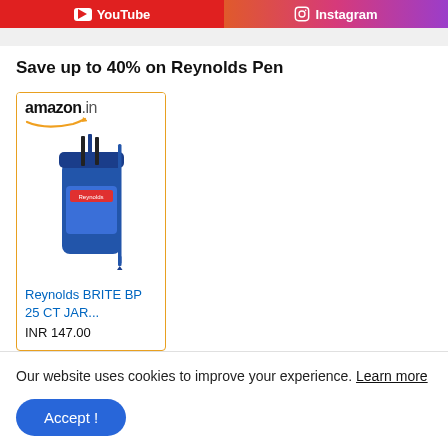[Figure (other): YouTube and Instagram social media buttons side by side at top of page]
Save up to 40% on Reynolds Pen
[Figure (other): Amazon.in product card showing Reynolds BRITE BP 25 CT JAR... priced at INR 147.00]
Our website uses cookies to improve your experience. Learn more
Accept !